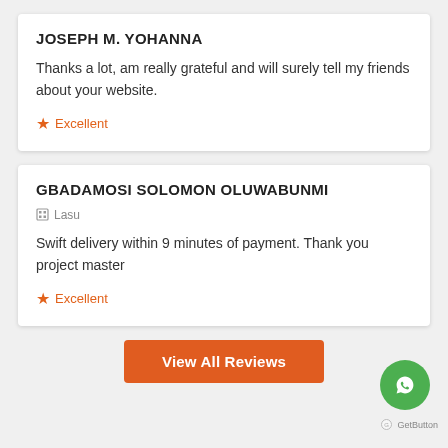JOSEPH M. YOHANNA
Thanks a lot, am really grateful and will surely tell my friends about your website.
★ Excellent
GBADAMOSI SOLOMON OLUWABUNMI
Lasu
Swift delivery within 9 minutes of payment. Thank you project master
★ Excellent
View All Reviews